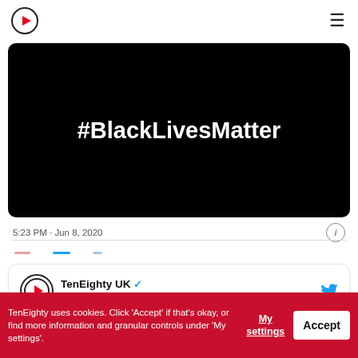TenEighty UK logo and navigation menu
[Figure (screenshot): Black image with white bold text reading #BlackLivesMatter]
5:23 PM · Jun 8, 2020
[Figure (screenshot): Tweet from TenEighty UK @TenEightyUK with a Follow button and Twitter bird icon. Text begins: An Instagram account is inviting creators to anonymously share the]
TenEighty uses cookies. Click 'Accept' if that's okay, or find more information and granular controls under 'My settings'.
My settings
Accept